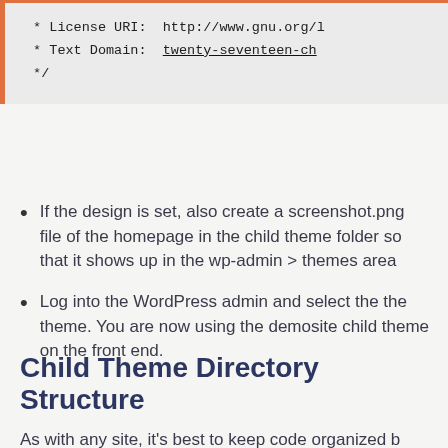[Figure (screenshot): Code block showing CSS/PHP comment with License URI and Text Domain fields, with orange left and top border]
If the design is set, also create a screenshot.png file of the homepage in the child theme folder so that it shows up in the wp-admin > themes area
Log into the WordPress admin and select the the theme. You are now using the demosite child theme on the front end.
Child Theme Directory Structure
As with any site, it's best to keep code organized b…